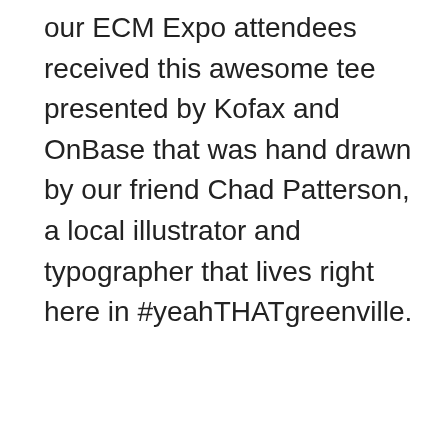our ECM Expo attendees received this awesome tee presented by Kofax and OnBase that was hand drawn by our friend Chad Patterson, a local illustrator and typographer that lives right here in #yeahTHATgreenville.